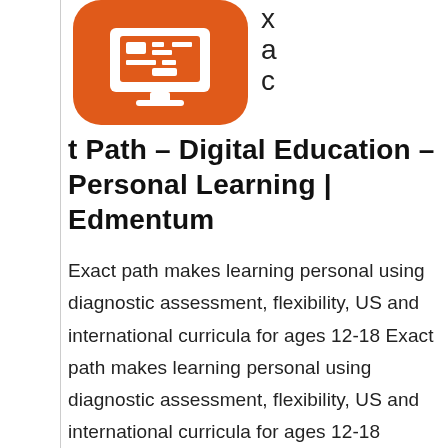[Figure (logo): Orange rounded rectangle logo with white computer/monitor icon (Edmentum/Exact Path logo)]
x a c t Path – Digital Education – Personal Learning | Edmentum
Exact path makes learning personal using diagnostic assessment, flexibility, US and international curricula for ages 12-18 Exact path makes learning personal using diagnostic assessment, flexibility, US and international curricula for ages 12-18 [ReadMore…]